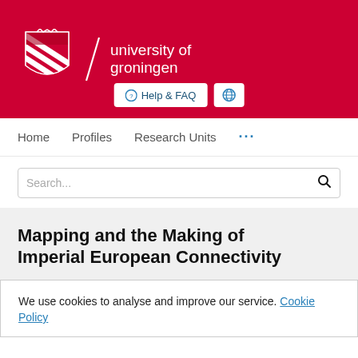[Figure (logo): University of Groningen logo: shield crest with diagonal stripe, slash divider, and text 'university of groningen' in white on red background, with Help & FAQ and globe buttons]
Home   Profiles   Research Units   ...
Search...
Mapping and the Making of Imperial European Connectivity
We use cookies to analyse and improve our service. Cookie Policy